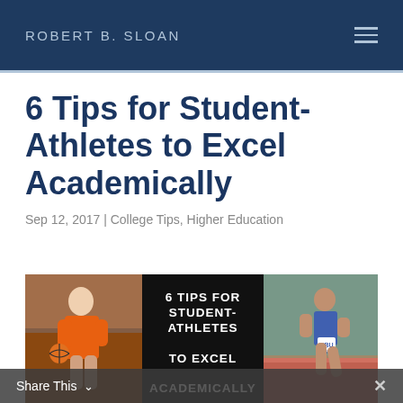ROBERT B. SLOAN
6 Tips for Student-Athletes to Excel Academically
Sep 12, 2017 | College Tips, Higher Education
[Figure (photo): Composite image showing a basketball player in an orange uniform on the left, a black panel in the center with white text reading '6 TIPS FOR STUDENT-ATHLETES TO EXCEL ACADEMICALLY', and a track runner in blue HBU uniform on the right.]
Share This